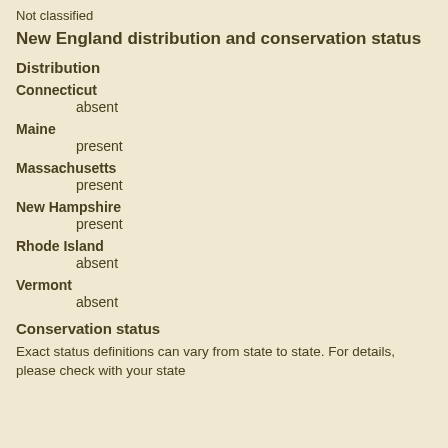Not classified
New England distribution and conservation status
Distribution
Connecticut
    absent
Maine
    present
Massachusetts
    present
New Hampshire
    present
Rhode Island
    absent
Vermont
    absent
Conservation status
Exact status definitions can vary from state to state. For details, please check with your state